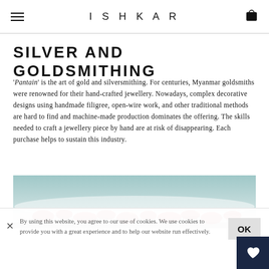ISHKAR
SILVER AND GOLDSMITHING
'Pantain' is the art of gold and silversmithing. For centuries, Myanmar goldsmiths were renowned for their hand-crafted jewellery. Nowadays, complex decorative designs using handmade filigree, open-wire work, and other traditional methods are hard to find and machine-made production dominates the offering. The skills needed to craft a jewellery piece by hand are at risk of disappearing. Each purchase helps to sustain this industry.
[Figure (photo): Blurred photo showing what appears to be red/pink decorative objects against a pale blue-grey background, likely jewellery or crafts related to the goldsmithing topic.]
By using this website, you agree to our use of cookies. We use cookies to provide you with a great experience and to help our website run effectively.